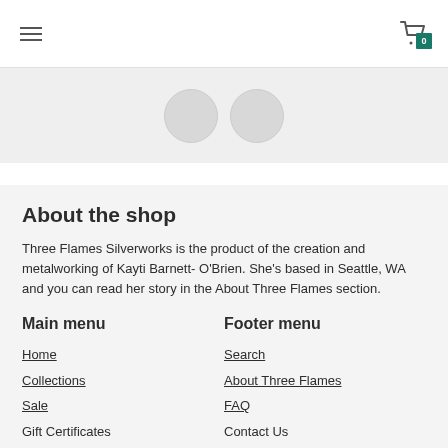Navigation header with hamburger menu and cart icon showing 0 items
[Figure (other): Product image strip showing two circular placeholder images on a light grey background]
About the shop
Three Flames Silverworks is the product of the creation and metalworking of Kayti Barnett- O'Brien. She's based in Seattle, WA and you can read her story in the About Three Flames section.
Main menu
Footer menu
Home
Search
Collections
About Three Flames
Sale
FAQ
Gift Certificates
Contact Us